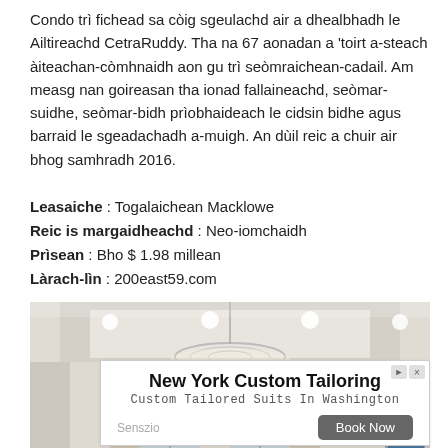Condo trì fichead sa còig sgeulachd air a dhealbhadh le Ailtireachd CetraRuddy. Tha na 67 aonadan a 'toirt a-steach àiteachan-còmhnaidh aon gu trì seòmraichean-cadail. Am measg nan goireasan tha ionad fallaineachd, seòmar-suidhe, seòmar-bidh prìobhaideach le cidsin bidhe agus barraid le sgeadachadh a-muigh. An dùil reic a chuir air bhog samhradh 2016.
Leasaiche : Togalaichean Macklowe
Reic is margaidheachd : Neo-iomchaidh
Prìsean : Bho $ 1.98 millean
Làrach-lìn : 200east59.com
[Figure (photo): Interior photo of a luxury condominium showing a hallway/living area with a round chandelier on the ceiling, white walls, recessed lighting, arched windows with curtains, and a colorful abstract painting on the right wall.]
[Figure (other): Advertisement banner for New York Custom Tailoring - Custom Tailored Suits In Washington. Shows Senszio branding and a Book Now button.]